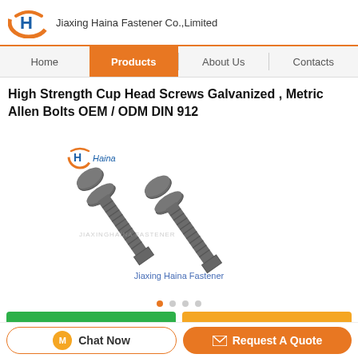Jiaxing Haina Fastener Co.,Limited
High Strength Cup Head Screws Galvanized , Metric Allen Bolts OEM / ODM DIN 912
[Figure (photo): Two galvanized cup head screws / metric Allen bolts shown diagonally on white background, with Haina logo watermark and 'Jiaxing Haina Fastener' text below]
Chat Now
Request A Quote